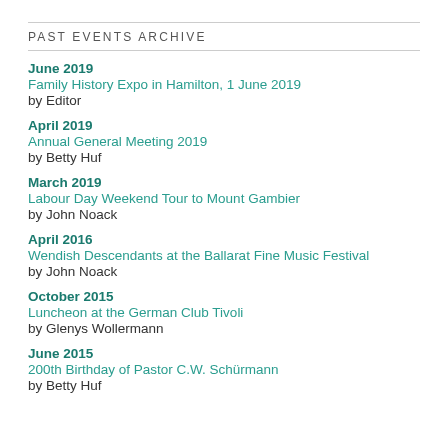PAST EVENTS ARCHIVE
June 2019
Family History Expo in Hamilton, 1 June 2019
by Editor
April 2019
Annual General Meeting 2019
by Betty Huf
March 2019
Labour Day Weekend Tour to Mount Gambier
by John Noack
April 2016
Wendish Descendants at the Ballarat Fine Music Festival
by John Noack
October 2015
Luncheon at the German Club Tivoli
by Glenys Wollermann
June 2015
200th Birthday of Pastor C.W. Schürmann
by Betty Huf